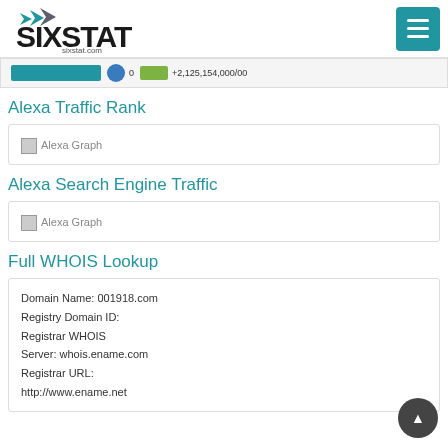SIXSTAT
[Figure (screenshot): Top bar strip showing a URL link, globe icon, number 0, green badge, and score +2,125,154,000/00]
Alexa Traffic Rank
[Figure (other): Alexa Graph placeholder image]
Alexa Search Engine Traffic
[Figure (other): Alexa Graph placeholder image]
Full WHOIS Lookup
Domain Name: 001918.com
Registry Domain ID:
Registrar WHOIS
Server: whois.ename.com
Registrar URL:
http://www.ename.net